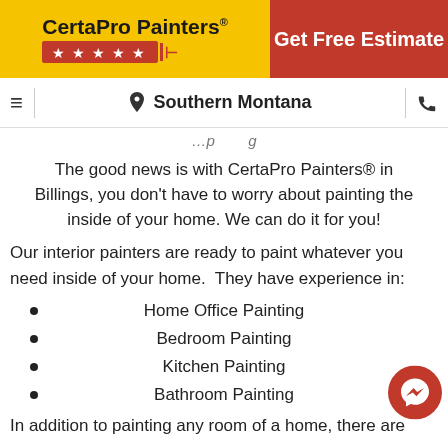[Figure (logo): CertaPro Painters logo with yellow background, stars, and red Get Free Estimate button]
Southern Montana
The good news is with CertaPro Painters® in Billings, you don't have to worry about painting the inside of your home. We can do it for you!
Our interior painters are ready to paint whatever you need inside of your home.  They have experience in:
Home Office Painting
Bedroom Painting
Kitchen Painting
Bathroom Painting
In addition to painting any room of a home, there are